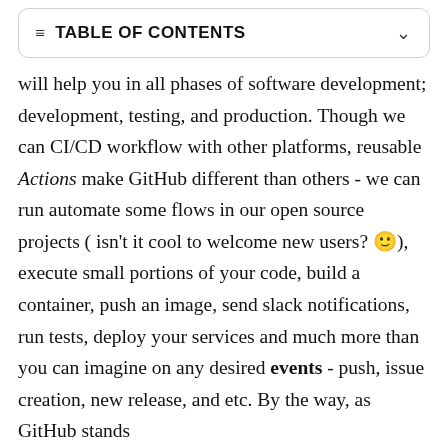TABLE OF CONTENTS
will help you in all phases of software development; development, testing, and production. Though we can CI/CD workflow with other platforms, reusable Actions make GitHub different than others - we can run automate some flows in our open source projects ( isn't it cool to welcome new users? 😎), execute small portions of your code, build a container, push an image, send slack notifications, run tests, deploy your services and much more than you can imagine on any desired events - push, issue creation, new release, and etc. By the way, as GitHub stands